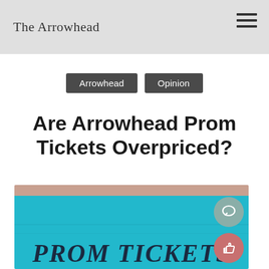The Arrowhead
Arrowhead   Opinion
Are Arrowhead Prom Tickets Overpriced?
[Figure (photo): Close-up photo of a blue prom ticket with stylized text reading 'PROM TICKETS' in dark gothic lettering]